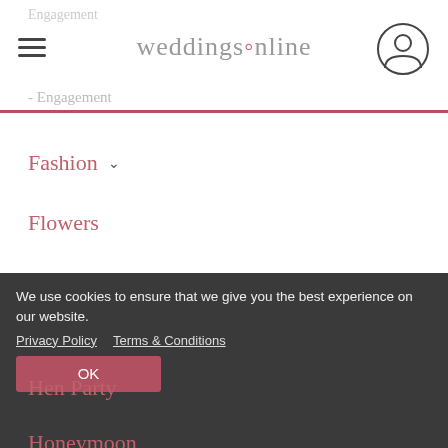weddingsonline
Engagement (faded)
Fashion (with dropdown)
Flowers
Hair & Beauty (with dropdown)
Health & Fitness
Hen Party
Honeymoon
We use cookies to ensure that we give you the best experience on our website. Privacy Policy   Terms & Conditions   OK